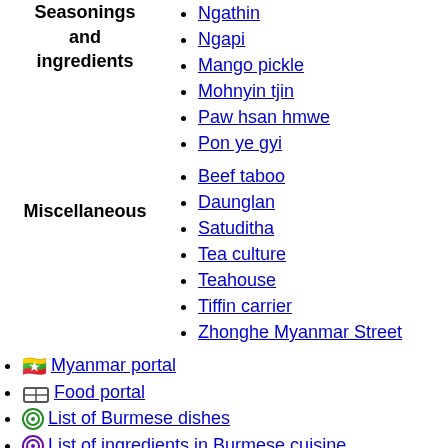Ngathin
Seasonings and ingredients
Ngapi
Mango pickle
Mohnyin tjin
Paw hsan hmwe
Pon ye gyi
Miscellaneous
Beef taboo
Daunglan
Satuditha
Tea culture
Teahouse
Tiffin carrier
Zhonghe Myanmar Street
Myanmar portal
Food portal
List of Burmese dishes
List of ingredients in Burmese cuisine
Category
MyanmarÂ articles
Myanmar articles
Myanmar is also known as Burma